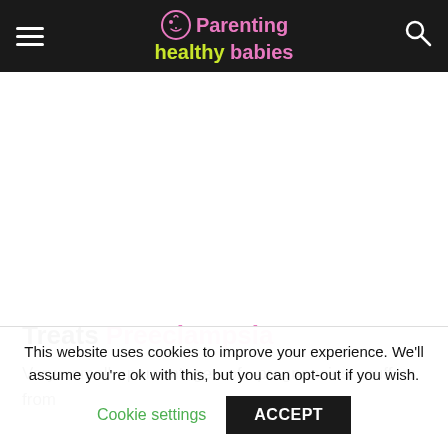Parenting healthy babies — navigation header
[Figure (other): White advertisement/blank area below the header]
Treats Preeclampsia
Very small percentage of pregnancies suffers from
This website uses cookies to improve your experience. We'll assume you're ok with this, but you can opt-out if you wish.
Cookie settings    ACCEPT